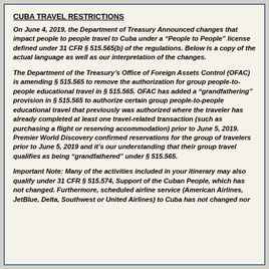CUBA TRAVEL RESTRICTIONS
On June 4, 2019, the Department of Treasury Announced changes that impact people to people travel to Cuba under a “People to People” license defined under 31 CFR § 515.565(b) of the regulations. Below is a copy of the actual language as well as our interpretation of the changes.
The Department of the Treasury’s Office of Foreign Assets Control (OFAC) is amending § 515.565 to remove the authorization for group people-to-people educational travel in § 515.565. OFAC has added a “grandfathering” provision in § 515.565 to authorize certain group people-to-people educational travel that previously was authorized where the traveler has already completed at least one travel-related transaction (such as purchasing a flight or reserving accommodation) prior to June 5, 2019. Premier World Discovery confirmed reservations for the group of travelers prior to June 5, 2019 and it’s our understanding that their group travel qualifies as being “grandfathered” under § 515.565.
Important Note: Many of the activities included in your itinerary may also qualify under 31 CFR § 515.574, Support of the Cuban People, which has not changed. Furthermore, scheduled airline service (American Airlines, JetBlue, Delta, Southwest or United Airlines) to Cuba has not changed nor